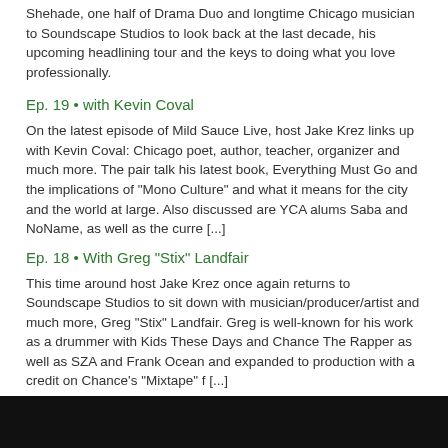Shehade, one half of Drama Duo and longtime Chicago musician to Soundscape Studios to look back at the last decade, his upcoming headlining tour and the keys to doing what you love professionally.
Ep. 19 • with Kevin Coval
On the latest episode of Mild Sauce Live, host Jake Krez links up with Kevin Coval: Chicago poet, author, teacher, organizer and much more. The pair talk his latest book, Everything Must Go and the implications of "Mono Culture" and what it means for the city and the world at large. Also discussed are YCA alums Saba and NoName, as well as the curre [...]
Ep. 18 • With Greg "Stix" Landfair
This time around host Jake Krez once again returns to Soundscape Studios to sit down with musician/producer/artist and much more, Greg "Stix" Landfair. Greg is well-known for his work as a drummer with Kids These Days and Chance The Rapper as well as SZA and Frank Ocean and expanded to production with a credit on Chance's "Mixtape" f [...]